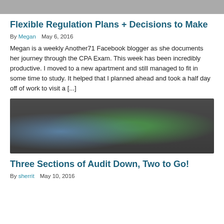[Figure (photo): Partial photo of a person at the top of the page, cropped]
Flexible Regulation Plans + Decisions to Make
By Megan   May 6, 2016
Megan is a weekly Another71 Facebook blogger as she documents her journey through the CPA Exam. This week has been incredibly productive. I moved to a new apartment and still managed to fit in some time to study. It helped that I planned ahead and took a half day off of work to visit a [...]
[Figure (photo): Two people sitting, viewed from behind, looking at a green screen/board at the front of a classroom, one person using a laptop]
Three Sections of Audit Down, Two to Go!
By sherrit   May 10, 2016